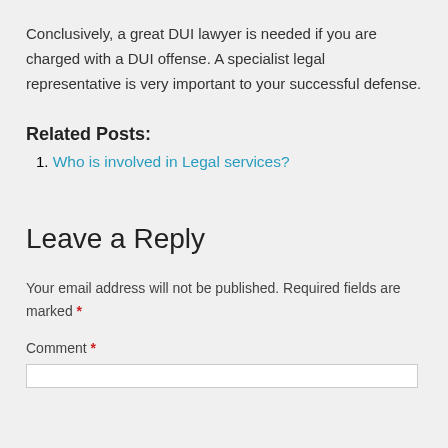Conclusively, a great DUI lawyer is needed if you are charged with a DUI offense. A specialist legal representative is very important to your successful defense.
Related Posts:
1. Who is involved in Legal services?
Leave a Reply
Your email address will not be published. Required fields are marked *
Comment *